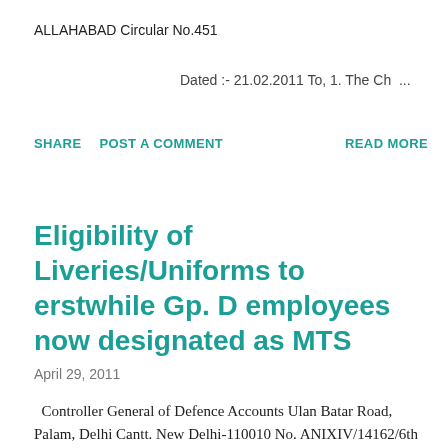ALLAHABAD Circular No.451
Dated :- 21.02.2011 To, 1. The Ch ...
SHARE   POST A COMMENT   READ MORE
Eligibility of Liveries/Uniforms to erstwhile Gp. D employees now designated as MTS
April 29, 2011
Controller General of Defence Accounts Ulan Batar Road, Palam, Delhi Cantt. New Delhi-110010 No. ANIXIV/14162/6th